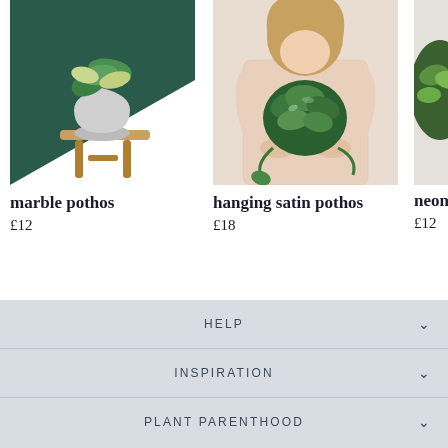[Figure (photo): Photo of a marble pothos plant in a white round pot on a wooden stool, against a dark green and white background]
marble pothos
£12
[Figure (photo): Photo of a person in a plaid dress holding a hanging satin pothos plant]
hanging satin pothos
£18
[Figure (photo): Partial photo of neon pothos product]
neon potho
£12
HELP
INSPIRATION
PLANT PARENTHOOD